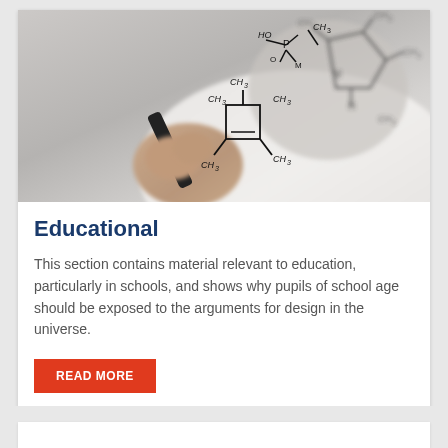[Figure (photo): Person writing chemical formulas on a transparent surface with a marker; molecular structures visible in foreground and background]
Educational
This section contains material relevant to education, particularly in schools, and shows why pupils of school age should be exposed to the arguments for design in the universe.
READ MORE